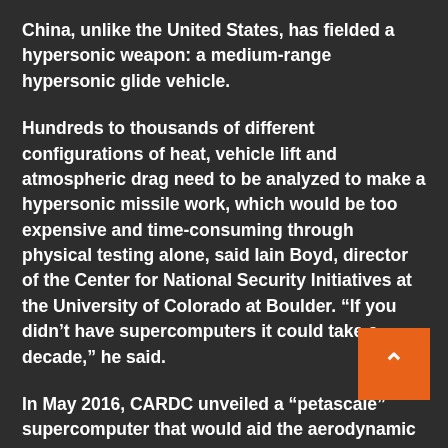China, unlike the United States, has fielded a hypersonic weapon: a medium-range hypersonic glide vehicle.
Hundreds to thousands of different configurations of heat, vehicle lift and atmospheric drag need to be analyzed to make a hypersonic missile work, which would be too expensive and time-consuming through physical testing alone, said Iain Boyd, director of the Center for National Security Initiatives at the University of Colorado at Boulder. “If you didn’t have supercomputers it could take a decade,” he said.
In May 2016, CARDC unveiled a “petascale” supercomputer that would aid the aerodynamic design of hypersonic missiles and other aircraft. petascale computer can handle one trillion calculations per second.